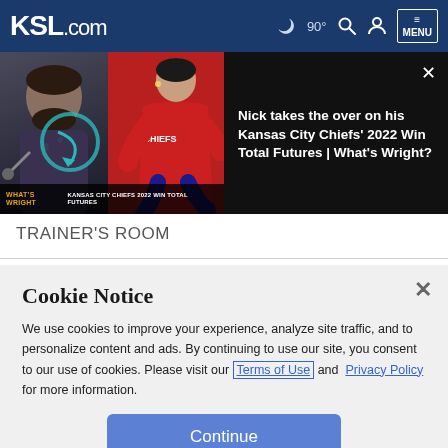KSL.com  90°  MENU
[Figure (screenshot): Video thumbnail showing two people, one holding a microphone on dark background, the other in red Kansas City Chiefs hoodie. Bottom text reads 'WHAT'S WRIGHT' and 'KANSAS CITY CHIEFS 2022 WIN TOTAL FUTURES']
Nick takes the over on his Kansas City Chiefs' 2022 Win Total Futures | What's Wright?
TRAINER'S ROOM
Cookie Notice
We use cookies to improve your experience, analyze site traffic, and to personalize content and ads. By continuing to use our site, you consent to our use of cookies. Please visit our Terms of Use and  Privacy Policy for more information.
Continue